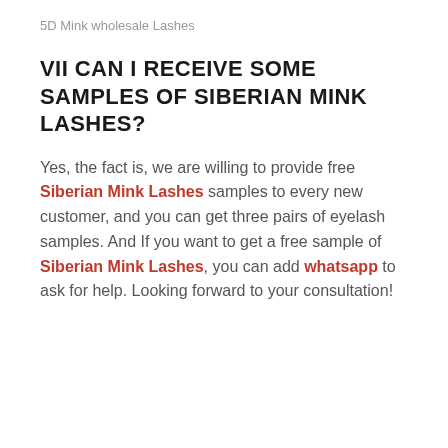5D Mink wholesale Lashes
VII CAN I RECEIVE SOME SAMPLES OF SIBERIAN MINK LASHES?
Yes, the fact is, we are willing to provide free Siberian Mink Lashes samples to every new customer, and you can get three pairs of eyelash samples. And If you want to get a free sample of Siberian Mink Lashes, you can add whatsapp to ask for help. Looking forward to your consultation!